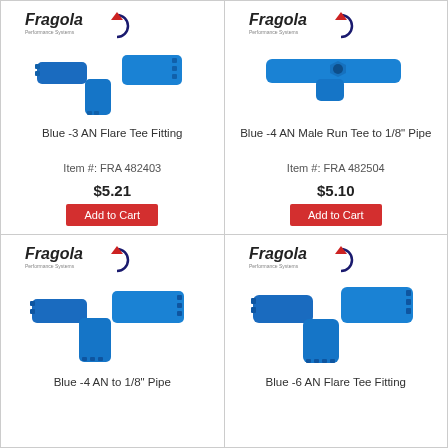[Figure (photo): Blue -3 AN Flare Tee Fitting product photo with Fragola Performance Systems logo]
Blue -3 AN Flare Tee Fitting
Item #: FRA 482403
$5.21
[Figure (photo): Blue -4 AN Male Run Tee to 1/8" Pipe product photo with Fragola Performance Systems logo]
Blue -4 AN Male Run Tee to 1/8" Pipe
Item #: FRA 482504
$5.10
[Figure (photo): Blue -4 AN to 1/8" Pipe product photo with Fragola Performance Systems logo]
Blue -4 AN to 1/8" Pipe
[Figure (photo): Blue -6 AN Flare Tee Fitting product photo with Fragola Performance Systems logo]
Blue -6 AN Flare Tee Fitting